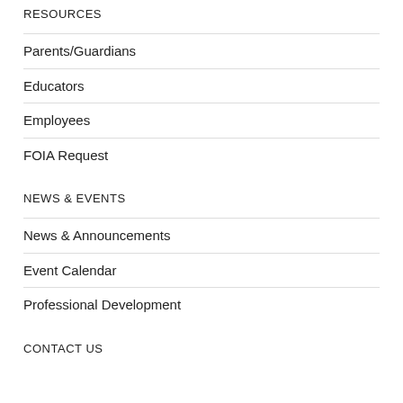RESOURCES
Parents/Guardians
Educators
Employees
FOIA Request
NEWS & EVENTS
News & Announcements
Event Calendar
Professional Development
CONTACT US